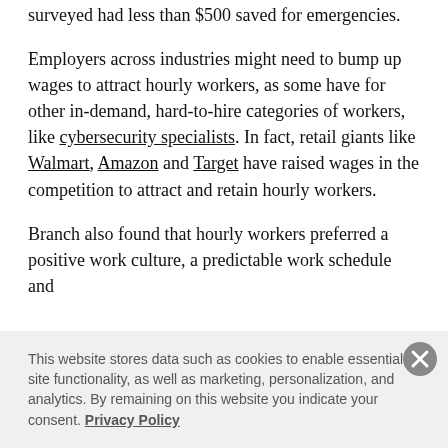surveyed had less than $500 saved for emergencies.
Employers across industries might need to bump up wages to attract hourly workers, as some have for other in-demand, hard-to-hire categories of workers, like cybersecurity specialists. In fact, retail giants like Walmart, Amazon and Target have raised wages in the competition to attract and retain hourly workers.
Branch also found that hourly workers preferred a positive work culture, a predictable work schedule and
This website stores data such as cookies to enable essential site functionality, as well as marketing, personalization, and analytics. By remaining on this website you indicate your consent. Privacy Policy